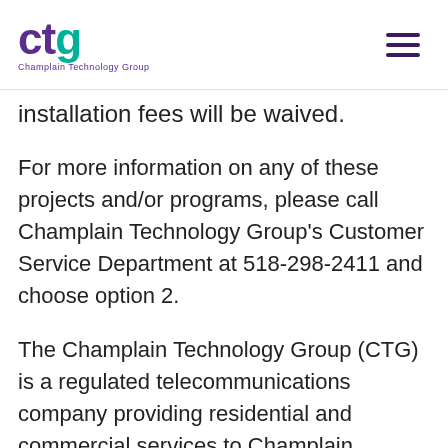ctg Champlain Technology Group
installation fees will be waived.
For more information on any of these projects and/or programs, please call Champlain Technology Group’s Customer Service Department at 518-298-2411 and choose option 2.
The Champlain Technology Group (CTG) is a regulated telecommunications company providing residential and commercial services to Champlain, Mooers, Mooers Forks, Rouses Point, and Altona since 1903.